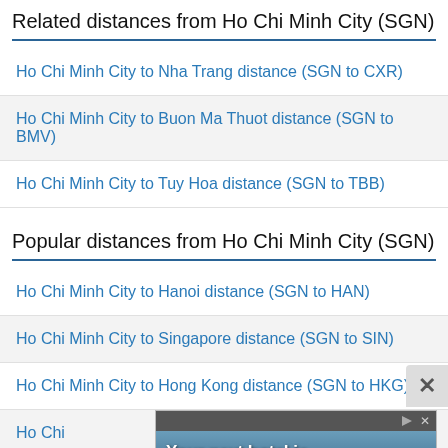Related distances from Ho Chi Minh City (SGN)
Ho Chi Minh City to Nha Trang distance (SGN to CXR)
Ho Chi Minh City to Buon Ma Thuot distance (SGN to BMV)
Ho Chi Minh City to Tuy Hoa distance (SGN to TBB)
Popular distances from Ho Chi Minh City (SGN)
Ho Chi Minh City to Hanoi distance (SGN to HAN)
Ho Chi Minh City to Singapore distance (SGN to SIN)
Ho Chi Minh City to Hong Kong distance (SGN to HKG)
[Figure (infographic): Hotels.com advertisement banner showing hotel image with text 'Your next hotel is waiting for you' and a Book Now button]
Ho Chi (partially visible)
Ho Chi (partially visible)
Ho Chi (partially visible)